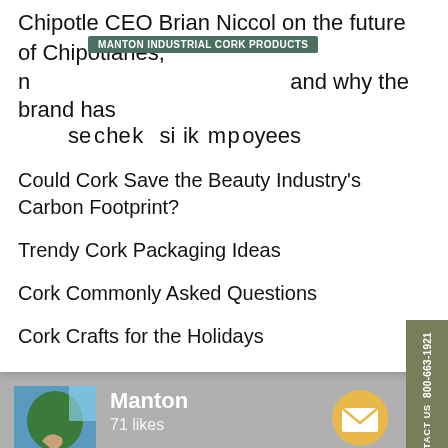Chipotle CEO Brian Niccol on the future of Chipotlanes, n… and why the brand has se…che…k on si…ik…m…p…oyees
MANTON INDUSTRIAL CORK PRODUCTS
Could Cork Save the Beauty Industry's Carbon Footprint?
Trendy Cork Packaging Ideas
Cork Commonly Asked Questions
Cork Crafts for the Holidays
800-663-1921 CONTACT US
Manton
71 likes
Live Chat by ProvideSupport